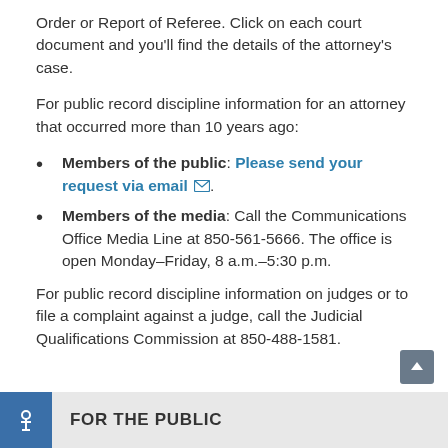Order or Report of Referee. Click on each court document and you’ll find the details of the attorney’s case.
For public record discipline information for an attorney that occurred more than 10 years ago:
Members of the public: Please send your request via email ✉.
Members of the media: Call the Communications Office Media Line at 850-561-5666. The office is open Monday–Friday, 8 a.m.–5:30 p.m.
For public record discipline information on judges or to file a complaint against a judge, call the Judicial Qualifications Commission at 850-488-1581.
FOR THE PUBLIC